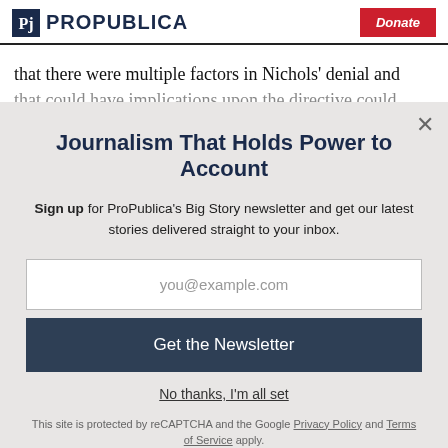ProPublica | Donate
that there were multiple factors in Nichols’ denial and
Journalism That Holds Power to Account
Sign up for ProPublica’s Big Story newsletter and get our latest stories delivered straight to your inbox.
you@example.com
Get the Newsletter
No thanks, I’m all set
This site is protected by reCAPTCHA and the Google Privacy Policy and Terms of Service apply.